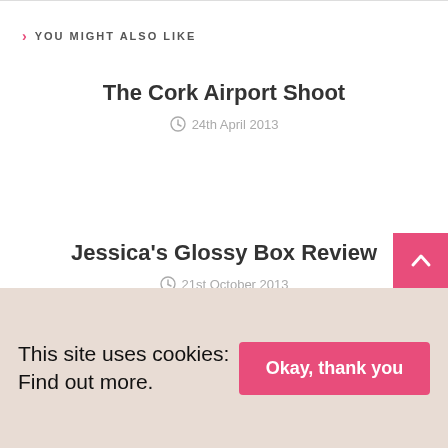YOU MIGHT ALSO LIKE
The Cork Airport Shoot
24th April 2013
Jessica's Glossy Box Review
21st October 2013
Wedding Guest Style
This site uses cookies: Find out more.
Okay, thank you